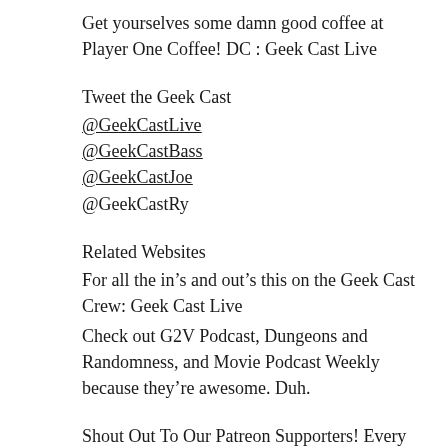Get yourselves some damn good coffee at Player One Coffee! DC : Geek Cast Live
Tweet the Geek Cast
@GeekCastLive
@GeekCastBass
@GeekCastJoe
@GeekCastRy
Related Websites
For all the in's and out's this on the Geek Cast Crew: Geek Cast Live
Check out G2V Podcast, Dungeons and Randomness, and Movie Podcast Weekly because they're awesome. Duh.
Shout Out To Our Patreon Supporters! Every penny brings us one step closer to destroying the moon. Danger Johnson, ASAP from NY, Dan the Man from